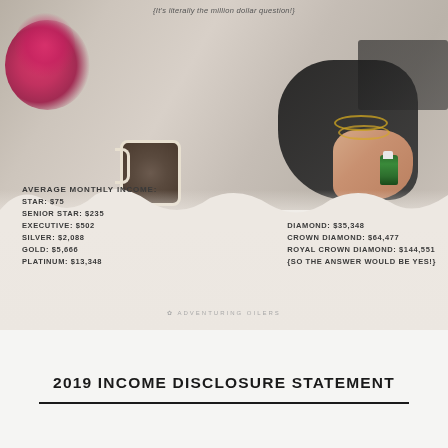[Figure (photo): Lifestyle flatlay photo of a woman's hand holding a small green essential oil bottle, surrounded by flowers, a coffee mug, bracelets, and gold accessories on a white background. Overlaid text shows average monthly income figures for Young Living ranks.]
{It's literally the million dollar question!}
AVERAGE MONTHLY INCOME:
STAR: $75
SENIOR STAR: $235
EXECUTIVE: $502
SILVER: $2,088
GOLD: $5,666
PLATINUM: $13,348
DIAMOND: $35,348
CROWN DIAMOND: $64,477
ROYAL CROWN DIAMOND: $144,551
{SO THE ANSWER WOULD BE YES!}
ADVENTURING OILERS
2019 INCOME DISCLOSURE STATEMENT